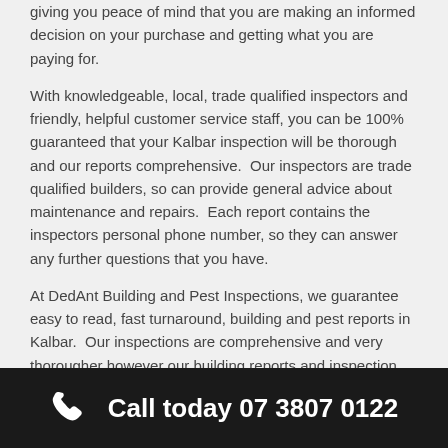giving you peace of mind that you are making an informed decision on your purchase and getting what you are paying for.
With knowledgeable, local, trade qualified inspectors and friendly, helpful customer service staff, you can be 100% guaranteed that your Kalbar inspection will be thorough and our reports comprehensive.  Our inspectors are trade qualified builders, so can provide general advice about maintenance and repairs.  Each report contains the inspectors personal phone number, so they can answer any further questions that you have.
At DedAnt Building and Pest Inspections, we guarantee easy to read, fast turnaround, building and pest reports in Kalbar.  Our inspections are comprehensive and very thorougher however our building reports and inspection reports are delivered quickly, usually within 24 hours of completion of the
Call today 07 3807 0122